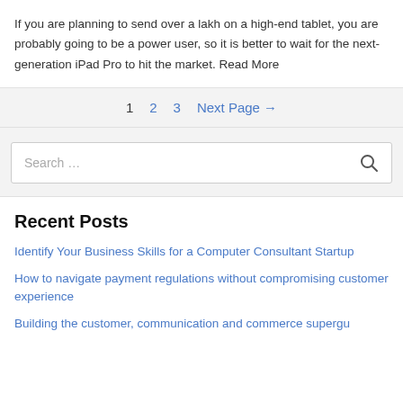If you are planning to send over a lakh on a high-end tablet, you are probably going to be a power user, so it is better to wait for the next-generation iPad Pro to hit the market. Read More
1  2  3  Next Page →
[Figure (other): Search bar with placeholder text 'Search ...' and a search icon on the right]
Recent Posts
Identify Your Business Skills for a Computer Consultant Startup
How to navigate payment regulations without compromising customer experience
Building the customer, communication and commerce supergu...